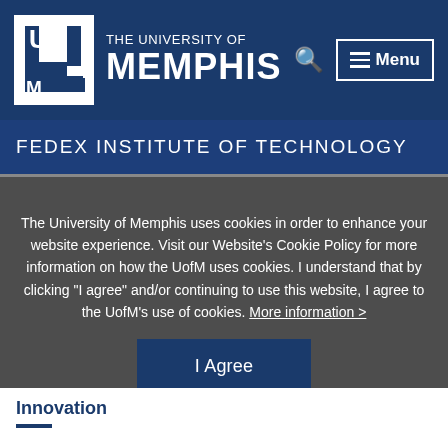[Figure (logo): University of Memphis logo - UM block letters in white on blue background with 'of' in small text]
THE UNIVERSITY OF MEMPHIS
FEDEX INSTITUTE OF TECHNOLOGY
The University of Memphis uses cookies in order to enhance your website experience. Visit our Website’s Cookie Policy for more information on how the UofM uses cookies. I understand that by clicking “I agree” and/or continuing to use this website, I agree to the UofM’s use of cookies. More information >
I Agree
Innovation